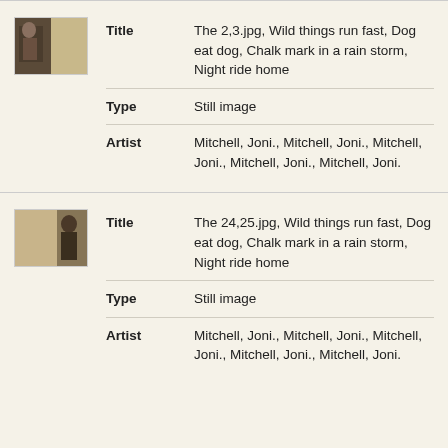|  | Field | Value |
| --- | --- | --- |
| [thumbnail] | Title | The 2,3.jpg, Wild things run fast, Dog eat dog, Chalk mark in a rain storm, Night ride home |
|  | Type | Still image |
|  | Artist | Mitchell, Joni., Mitchell, Joni., Mitchell, Joni., Mitchell, Joni., Mitchell, Joni. |
|  | Field | Value |
| --- | --- | --- |
| [thumbnail] | Title | The 24,25.jpg, Wild things run fast, Dog eat dog, Chalk mark in a rain storm, Night ride home |
|  | Type | Still image |
|  | Artist | Mitchell, Joni., Mitchell, Joni., Mitchell, Joni., Mitchell, Joni., Mitchell, Joni. |